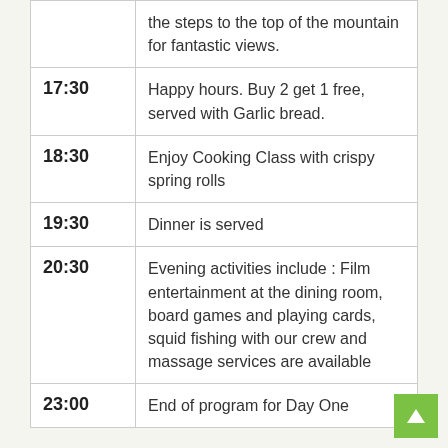| Time | Activity |
| --- | --- |
|  | the steps to the top of the mountain for fantastic views. |
| 17:30 | Happy hours. Buy 2 get 1 free, served with Garlic bread. |
| 18:30 | Enjoy Cooking Class with crispy spring rolls |
| 19:30 | Dinner is served |
| 20:30 | Evening activities include : Film entertainment at the dining room, board games and playing cards, squid fishing with our crew and massage services are available |
| 23:00 | End of program for Day One |